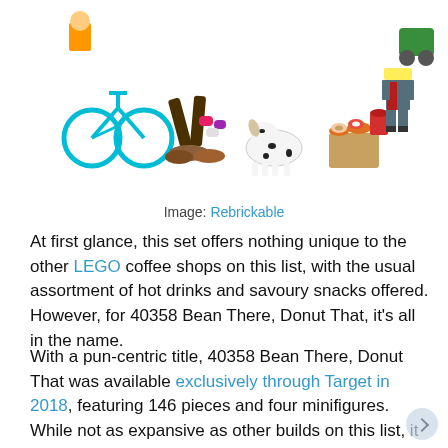[Figure (photo): LEGO minifigures and accessories including a bicycle, dog, donuts, coffee cups, and a businessman minifigure spread out on a white background]
Image: Rebrickable
At first glance, this set offers nothing unique to the other LEGO coffee shops on this list, with the usual assortment of hot drinks and savoury snacks offered. However, for 40358 Bean There, Donut That, it's all in the name.
With a pun-centric title, 40358 Bean There, Donut That was available exclusively through Target in 2018, featuring 146 pieces and four minifigures. While not as expansive as other builds on this list, it arguably has the best name of them all.